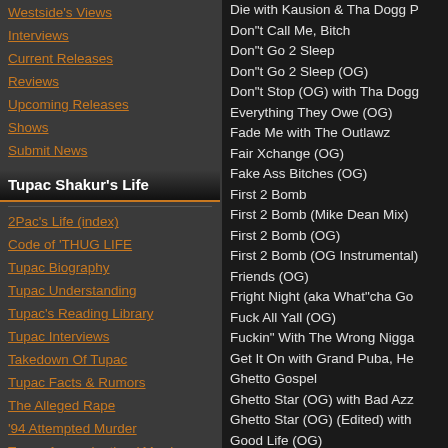Westside's Views
Interviews
Current Releases
Reviews
Upcoming Releases
Shows
Submit News
Tupac Shakur's Life
2Pac's Life (index)
Code of 'THUG LIFE
Tupac Biography
Tupac Understanding
Tupac's Reading Library
Tupac Interviews
Takedown Of Tupac
Tupac Facts & Rumors
The Alleged Rape
'94 Attempted Murder
Tupac Assassination / Murder
News at the Time
Tupac Autopsy
Tupac Tributes
Die with Kausion & Tha Dogg P
Don"t Call Me, Bitch
Don"t Go 2 Sleep
Don"t Go 2 Sleep (OG)
Don"t Stop (OG) with Tha Dogg
Everything They Owe (OG)
Fade Me with The Outlawz
Fair Xchange (OG)
Fake Ass Bitches (OG)
First 2 Bomb
First 2 Bomb (Mike Dean Mix)
First 2 Bomb (OG)
First 2 Bomb (OG Instrumental)
Friends (OG)
Fright Night (aka What"cha Go
Fuck All Yall (OG)
Fuckin" With The Wrong Nigga
Get It On with Grand Puba, He
Ghetto Gospel
Ghetto Star (OG) with Bad Azz
Ghetto Star (OG) (Edited) with
Good Life (OG)
Grab The Mic
Happy Home (OG)